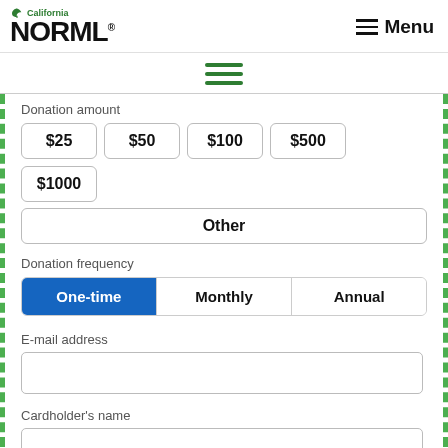California NORML — Menu
[Figure (illustration): Green hamburger menu icon (three horizontal green lines)]
Donation amount
$25  $50  $100  $500  $1000  Other
Donation frequency
One-time  Monthly  Annual
E-mail address
Cardholder's name